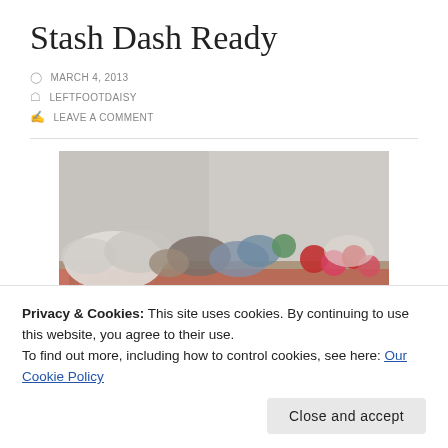Stash Dash Ready
MARCH 4, 2013
LEFTFOOTDAISY
LEAVE A COMMENT
[Figure (photo): Bags and bundles of yarn arranged on a table covered with a checkered cloth, with a white plastic sheet backdrop. Various colors of yarn visible including white, grey, blue, green, red, and pink balls and skeins packed in clear plastic bags.]
Privacy & Cookies: This site uses cookies. By continuing to use this website, you agree to their use.
To find out more, including how to control cookies, see here: Our Cookie Policy
Close and accept
Super chunky, chunky & aran